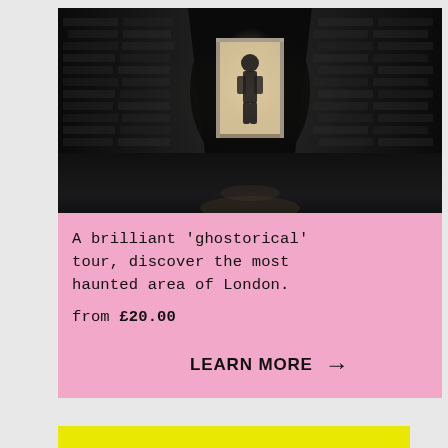[Figure (photo): Dark atmospheric alleyway photo with a person standing in a bright doorway at the end, brick walls on both sides, wet reflective ground, moody and dark tones]
A brilliant 'ghostorical' tour, discover the most haunted area of London.
from £20.00
LEARN MORE →